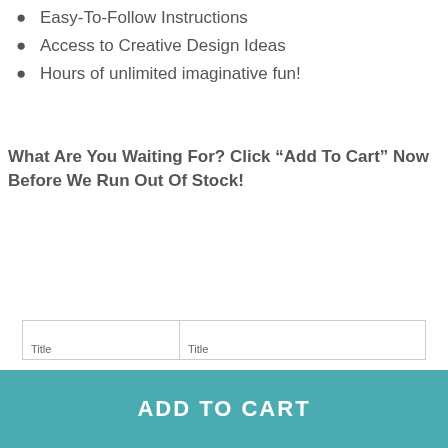Easy-To-Follow Instructions
Access to Creative Design Ideas
Hours of unlimited imaginative fun!
What Are You Waiting For? Click “Add To Cart” Now Before We Run Out Of Stock!
| Title | Title |
| --- | --- |
|  |
ADD TO CART